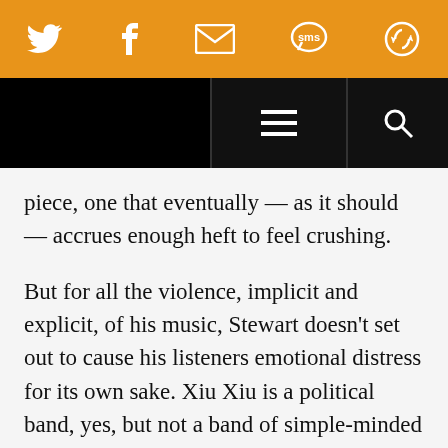[Figure (screenshot): Orange social media sharing bar with Twitter, Facebook, Email, SMS, and share icons in white]
[Figure (screenshot): Black navigation bar with hamburger menu icon on left-center and search magnifying glass icon on right]
piece, one that eventually — as it should — accrues enough heft to feel crushing.
But for all the violence, implicit and explicit, of his music, Stewart doesn't set out to cause his listeners emotional distress for its own sake. Xiu Xiu is a political band, yes, but not a band of simple-minded shock artists. When you give Xiu Xiu's music, including FORGET, the level of attentio[n it deserves]